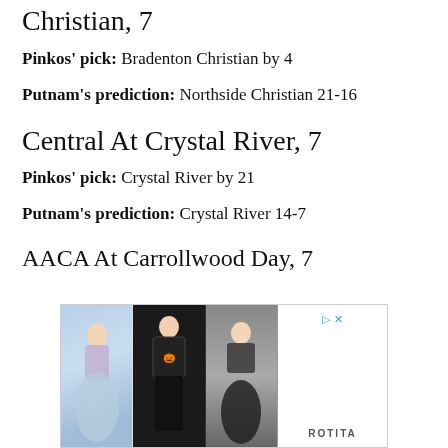Christian, 7
Pinkos' pick: Bradenton Christian by 4
Putnam's prediction: Northside Christian 21-16
Central At Crystal River, 7
Pinkos' pick: Crystal River by 21
Putnam's prediction: Crystal River 14-7
AACA At Carrollwood Day, 7
[Figure (photo): Advertisement banner showing three women in dresses/clothing from ROTITA brand]